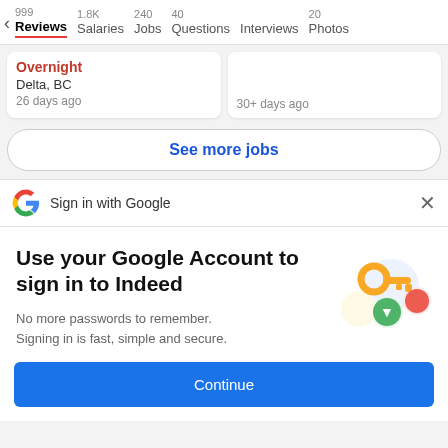999 Reviews | 1.8K Salaries | 240 Jobs | 40 Questions | Interviews | 20 Photos
Overnight
Delta, BC
26 days ago
30+ days ago
See more jobs
Sign in with Google
Use your Google Account to sign in to Indeed
No more passwords to remember.
Signing in is fast, simple and secure.
[Figure (illustration): Google sign-in illustration with a golden key and colorful circles]
Continue